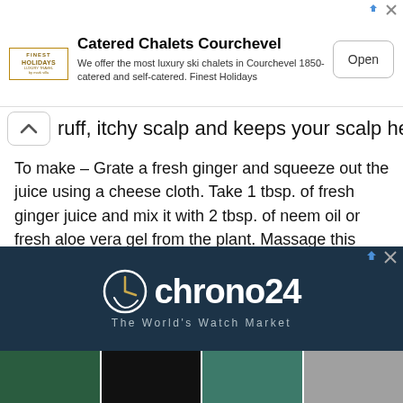[Figure (screenshot): Advertisement banner for Finest Holidays - Catered Chalets Courchevel with logo, description text and Open button]
ruff, itchy scalp and keeps your scalp healthy.
To make – Grate a fresh ginger and squeeze out the juice using a cheese cloth. Take 1 tbsp. of fresh ginger juice and mix it with 2 tbsp. of neem oil or fresh aloe vera gel from the plant. Massage this mixture on the scalp. Leave it on for 10 mins and wash it off with a mild shampoo.
[Figure (screenshot): Advertisement banner for chrono24 - The World's Watch Market on dark navy background with watch thumbnail strip below]